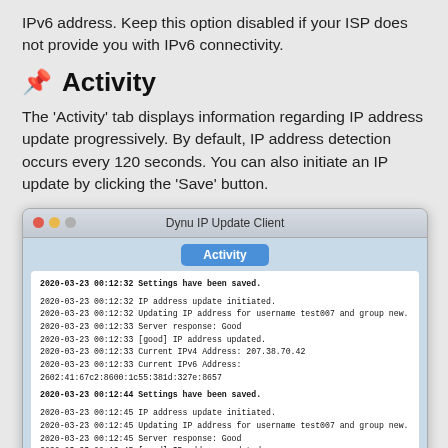IPv6 address. Keep this option disabled if your ISP does not provide you with IPv6 connectivity.
📌 Activity
The 'Activity' tab displays information regarding IP address update progressively. By default, IP address detection occurs every 120 seconds. You can also initiate an IP update by clicking the 'Save' button.
[Figure (screenshot): Screenshot of the Dynu IP Update Client macOS application showing the Activity tab with log entries of IP address updates on 2020-03-23.]